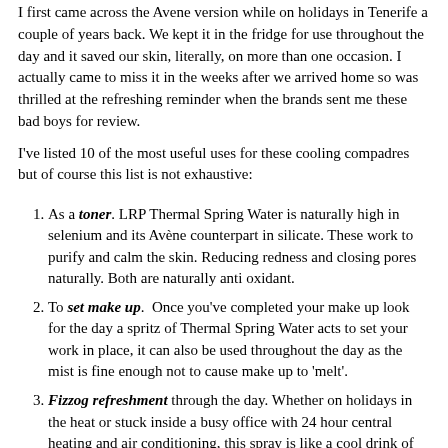I first came across the Avene version while on holidays in Tenerife a couple of years back. We kept it in the fridge for use throughout the day and it saved our skin, literally, on more than one occasion. I actually came to miss it in the weeks after we arrived home so was thrilled at the refreshing reminder when the brands sent me these bad boys for review.
I've listed 10 of the most useful uses for these cooling compadres but of course this list is not exhaustive:
As a toner. LRP Thermal Spring Water is naturally high in selenium and its Avène counterpart in silicate. These work to purify and calm the skin. Reducing redness and closing pores naturally. Both are naturally anti oxidant.
To set make up. Once you've completed your make up look for the day a spritz of Thermal Spring Water acts to set your work in place, it can also be used throughout the day as the mist is fine enough not to cause make up to 'melt'.
Fizzog refreshment through the day. Whether on holidays in the heat or stuck inside a busy office with 24 hour central heating and air conditioning, this spray is like a cool drink of